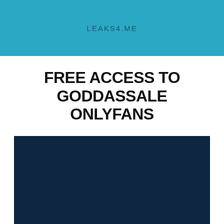LEAKS4.ME
FREE ACCESS TO GODDASSALE ONLYFANS
[Figure (photo): Dark navy blue rectangular image block, content obscured/blurred]